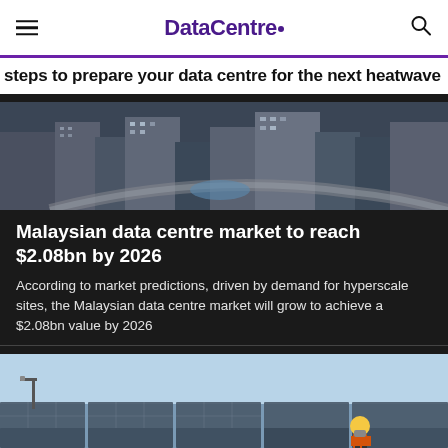DataCentre.
steps to prepare your data centre for the next heatwave
[Figure (photo): Aerial view of urban buildings and city infrastructure]
Malaysian data centre market to reach $2.08bn by 2026
According to market predictions, driven by demand for hyperscale sites, the Malaysian data centre market will grow to achieve a $2.08bn value by 2026
[Figure (photo): Worker in yellow hard hat standing in front of solar panels]